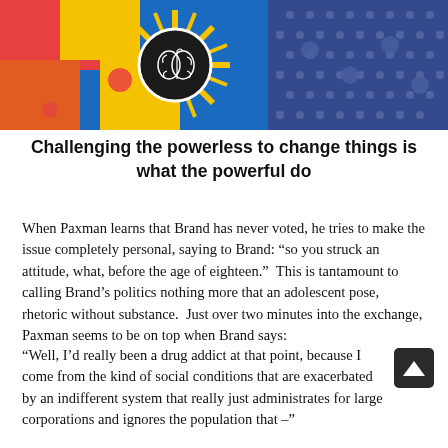[Figure (photo): Photo of colorful artwork/clothing with brain motif circle on the left and blue patterned shirt on the right]
Challenging the powerless to change things is what the powerful do
When Paxman learns that Brand has never voted, he tries to make the issue completely personal, saying to Brand: “so you struck an attitude, what, before the age of eighteen.”  This is tantamount to calling Brand’s politics nothing more that an adolescent pose, rhetoric without substance.  Just over two minutes into the exchange, Paxman seems to be on top when Brand says:
“Well, I’d really been a drug addict at that point, because I come from the kind of social conditions that are exacerbated by an indifferent system that really just administrates for large corporations and ignores the population that –”